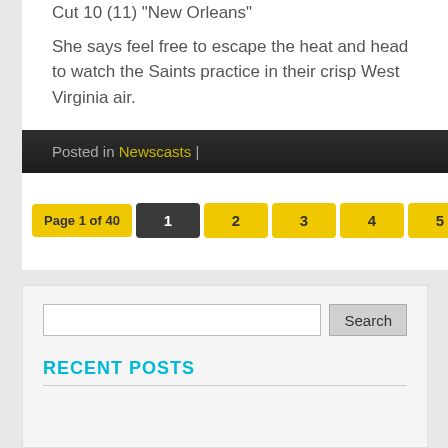Cut 10 (11) "New Orleans"
She says feel free to escape the heat and head to watch the Saints practice in their crisp West Virginia air.
Posted in Newscasts |
Page 1 of 40  1  2  3  4  5  Next ›  Last »
Search
RECENT POSTS